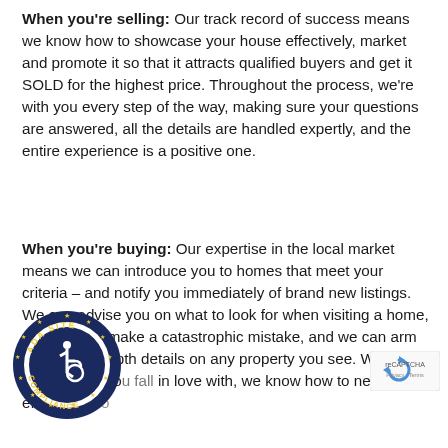When you're selling: Our track record of success means we know how to showcase your house effectively, market and promote it so that it attracts qualified buyers and get it SOLD for the highest price. Throughout the process, we're with you every step of the way, making sure your questions are answered, all the details are handled expertly, and the entire experience is a positive one.
When you're buying: Our expertise in the local market means we can introduce you to homes that meet your criteria – and notify you immediately of brand new listings. We can advise you on what to look for when visiting a home, so you don't make a catastrophic mistake, and we can arm you with in-depth details on any property you see. When you find a home you fall in love with, we know how to negotiate effectively so...
[Figure (logo): ADA Site Compliance badge — circular dark blue border with gold stars, wheelchair accessibility symbol in center, text reading ADA SITE COMPLIANCE around the rim]
[Figure (logo): Google reCAPTCHA logo with circular arrows. Privacy - Terms text below.]